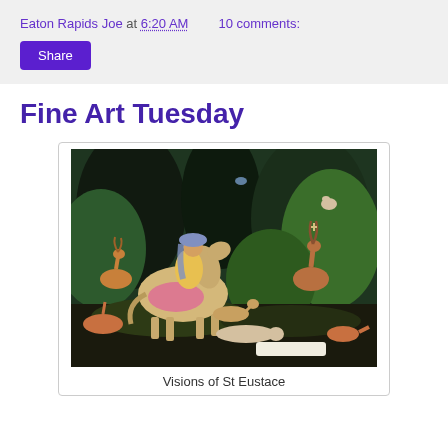Eaton Rapids Joe at 6:20 AM   10 comments:
Share
Fine Art Tuesday
[Figure (illustration): A medieval-style painting showing a knight on horseback in a forest, surrounded by deer, dogs, and other animals. The scene depicts the Vision of St Eustace, with lush dark green foliage in the background and a stag with a cross between its antlers.]
Visions of St Eustace